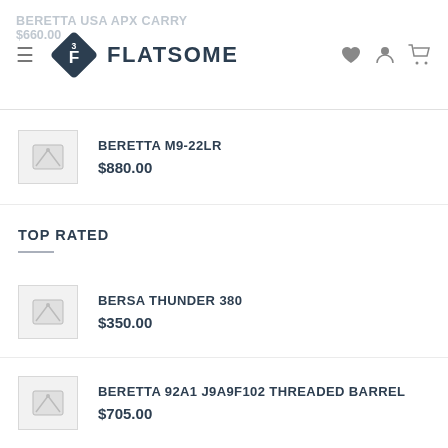Flatsome — navigation header with hamburger menu, logo, heart, user, and cart icons
BERETTA USA APX CARRY
$660.00
BERETTA M9-22LR
$880.00
TOP RATED
BERSA THUNDER 380
$350.00
BERETTA 92A1 J9A9F102 THREADED BARREL
$705.00
BERETTA USA APX CARRY
$660.00